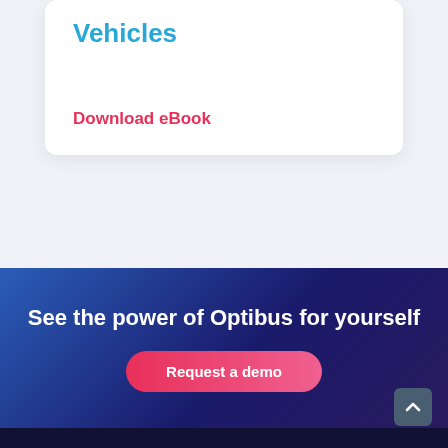Vehicles
Download eBook
See the power of Optibus for yourself
Request a demo